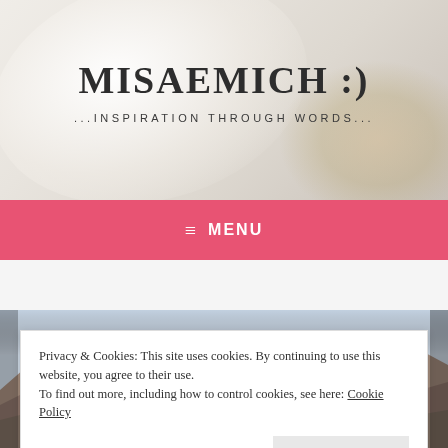[Figure (photo): White flower close-up background image for blog header]
MISAEMICH :)
...INSPIRATION THROUGH WORDS...
≡  MENU
[Figure (photo): Mountain landscape panorama photo]
Privacy & Cookies: This site uses cookies. By continuing to use this website, you agree to their use.
To find out more, including how to control cookies, see here: Cookie Policy
Close and accept